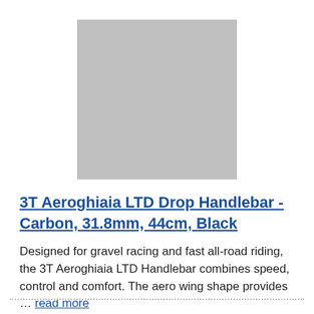[Figure (photo): Product image placeholder — gray rectangle]
3T Aeroghiaia LTD Drop Handlebar - Carbon, 31.8mm, 44cm, Black
Designed for gravel racing and fast all-road riding, the 3T Aeroghiaia LTD Handlebar combines speed, control and comfort. The aero wing shape provides … read more
your price $350.00 + ships free